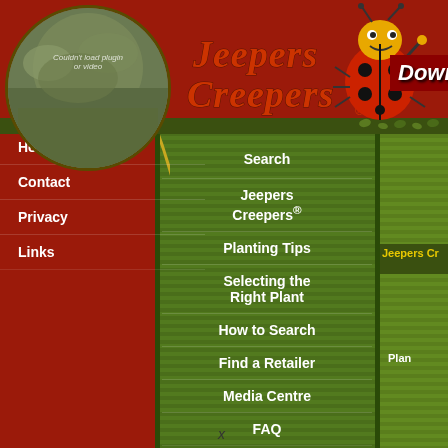[Figure (screenshot): Jeepers Creepers gardening website screenshot showing header with logo, ladybug mascot, navigation menus on left and center, and flower photo. Partial view cropped on right side.]
Home
Contact
Privacy
Links
Search
Jeepers Creepers®
Planting Tips
Selecting the Right Plant
How to Search
Find a Retailer
Media Centre
FAQ
Jeepers Cr
Plan
x